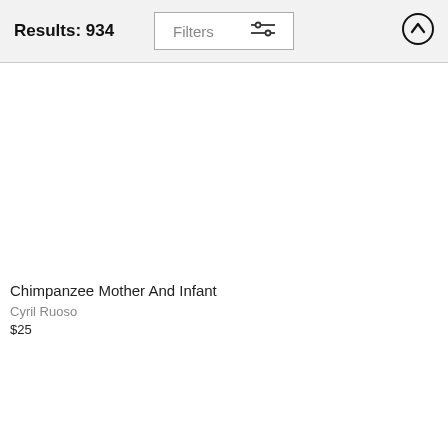Results: 934
Chimpanzee Mother And Infant
Cyril Ruoso
$25